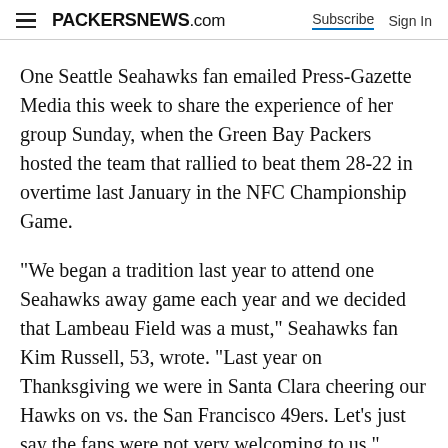PACKERSNEWS.com  Subscribe  Sign In
One Seattle Seahawks fan emailed Press-Gazette Media this week to share the experience of her group Sunday, when the Green Bay Packers hosted the team that rallied to beat them 28-22 in overtime last January in the NFC Championship Game.
"We began a tradition last year to attend one Seahawks away game each year and we decided that Lambeau Field was a must," Seahawks fan Kim Russell, 53, wrote. "Last year on Thanksgiving we were in Santa Clara cheering our Hawks on vs. the San Francisco 49ers. Let's just say the fans were not very welcoming to us."